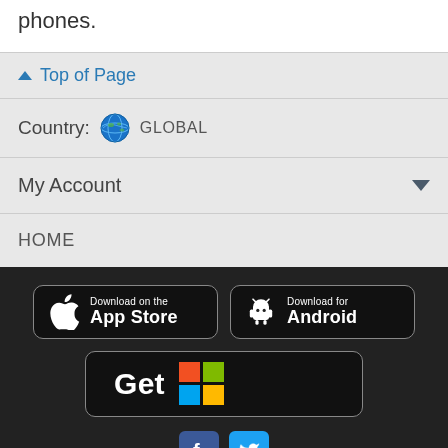phones.
^ Top of Page
Country: 🌐 GLOBAL
My Account ▼
HOME
[Figure (screenshot): Download on the App Store button (black, rounded rectangle, Apple logo)]
[Figure (screenshot): Download for Android button (black, rounded rectangle, Android robot logo)]
[Figure (screenshot): Get it on Windows button (black, rounded rectangle, Windows color logo) with text 'Get']
[Figure (screenshot): Facebook and Twitter social media icon buttons]